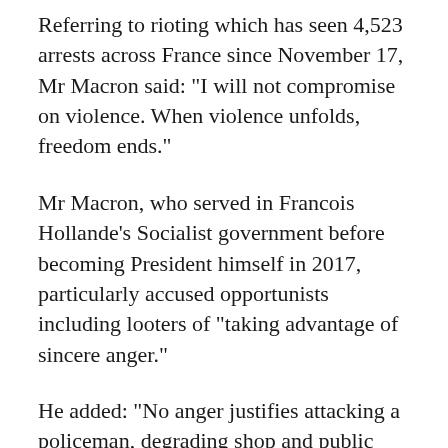Referring to rioting which has seen 4,523 arrests across France since November 17, Mr Macron said: "I will not compromise on violence. When violence unfolds, freedom ends."
Mr Macron, who served in Francois Hollande's Socialist government before becoming President himself in 2017,  particularly accused opportunists including looters of "taking advantage of sincere anger."
He added: "No anger justifies attacking a policeman, degrading shop and public buildings. From now on it is the peace and the Republican order which must reign."
Cities including Paris and Bordeaux exploded into violence on Saturday, during the fourth weekend of demonstrations by the Yellow Vests, who are named after their high visibility jackets.